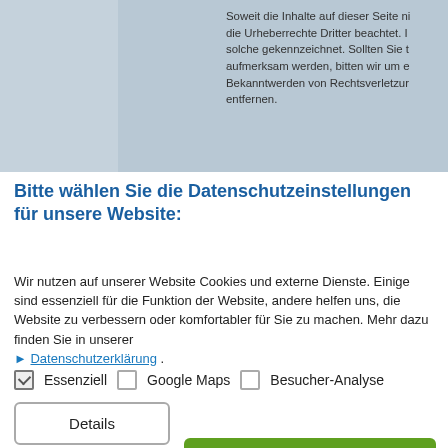Soweit die Inhalte auf dieser Seite ni die Urheberrechte Dritter beachtet. I solche gekennzeichnet. Sollten Sie t aufmerksam werden, bitten wir um e Bekanntwerden von Rechtsverletzur entfernen.
Bitte wählen Sie die Datenschutzeinstellungen für unsere Website:
Wir nutzen auf unserer Website Cookies und externe Dienste. Einige sind essenziell für die Funktion der Website, andere helfen uns, die Website zu verbessern oder komfortabler für Sie zu machen. Mehr dazu finden Sie in unserer ▶ Datenschutzerklärung .
☑ Essenziell  ☐ Google Maps  ☐ Besucher-Analyse
Details | Auswahl akzeptieren | Alle akzeptieren